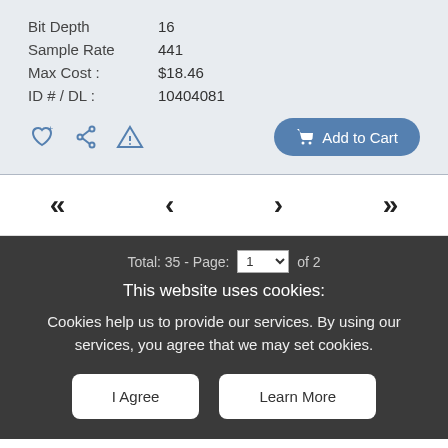Bit Depth: 16
Sample Rate: 441
Max Cost: $18.46
ID # / DL: 10404081
Add to Cart
Total: 35 - Page: 1 of 2
This website uses cookies:
Cookies help us to provide our services. By using our services, you agree that we may set cookies.
I Agree
Learn More